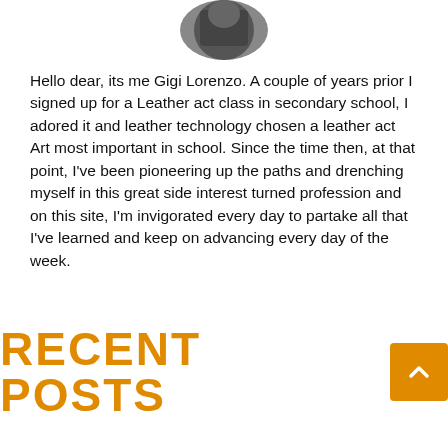[Figure (photo): Circular profile photo of a person, partially visible at top of page]
Hello dear, its me Gigi Lorenzo. A couple of years prior I signed up for a Leather act class in secondary school, I adored it and leather technology chosen a leather act Art most important in school. Since the time then, at that point, I've been pioneering up the paths and drenching myself in this great side interest turned profession and on this site, I'm invigorated every day to partake all that I've learned and keep on advancing every day of the week.
RECENT POSTS